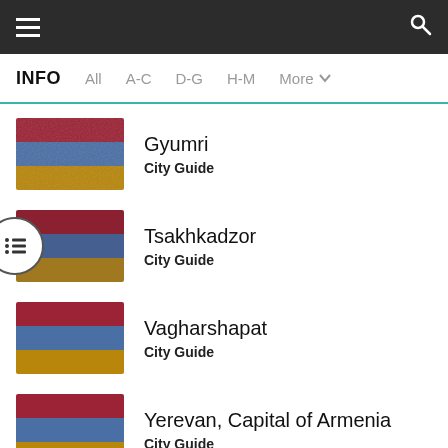INFO | All | A-C | D-G | H-M | More
Gyumri
City Guide
Tsakhkadzor
City Guide
Vagharshapat
City Guide
Yerevan, Capital of Armenia
City Guide